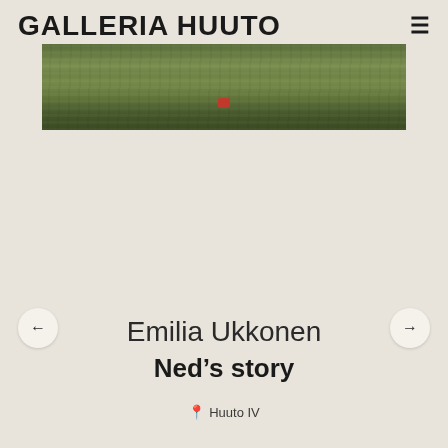GALLERIA HUUTO
[Figure (photo): Photograph of a grass field or lawn, slightly muted tones, with a small red object visible near the center-bottom of the image.]
Emilia Ukkonen
Ned's story
📍 Huuto IV